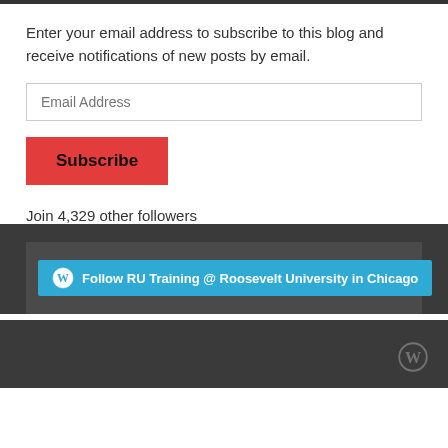Enter your email address to subscribe to this blog and receive notifications of new posts by email.
Email Address
Subscribe
Join 4,329 other followers
[Figure (screenshot): Blue button with WordPress logo and text: Follow RU Training @ Roosevelt University in Chicago]
[Figure (logo): WordPress logo in footer, grey/dark]